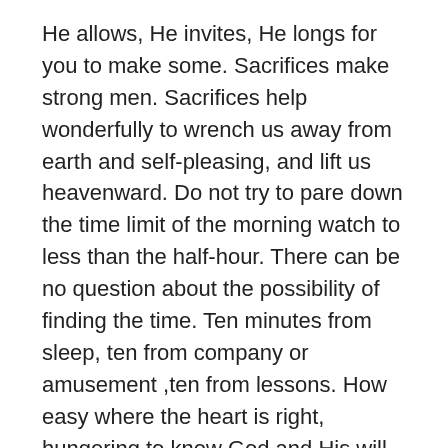He allows, He invites, He longs for you to make some. Sacrifices make strong men. Sacrifices help wonderfully to wrench us away from earth and self-pleasing, and lift us heavenward. Do not try to pare down the time limit of the morning watch to less than the half-hour. There can be no question about the possibility of finding the time. Ten minutes from sleep, ten from company or amusement ,ten from lessons. How easy where the heart is right, hungering to know God and His will perfectly!
If you feel that you do not feel the need of so much time, and know not how to wait, we are content you should speak of your quiet time, or your hour of prayer. God may graciously, later on, draw you out to the morning watch. But do not undertake it unless you feel your heart